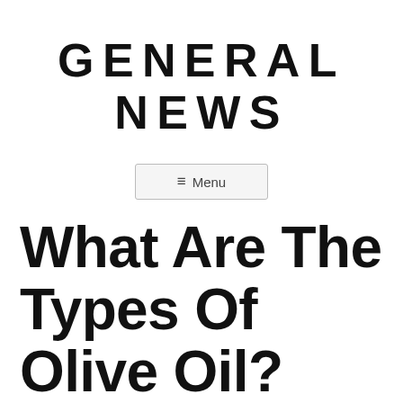GENERAL NEWS
≡ Menu
What Are The Types Of Olive Oil?